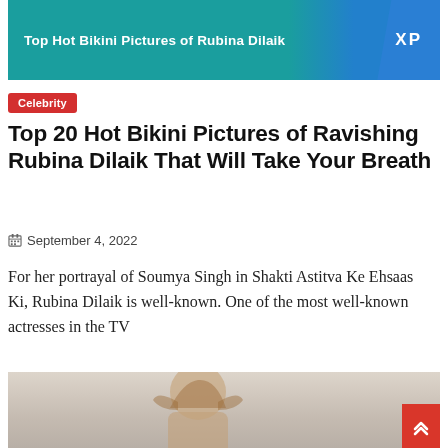[Figure (photo): Advertisement banner for 'Top Hot Bikini Pictures of Rubina Dilaik' with teal/blue background and XP logo]
Celebrity
Top 20 Hot Bikini Pictures of Ravishing Rubina Dilaik That Will Take Your Breath
September 4, 2022
For her portrayal of Soumya Singh in Shakti Astitva Ke Ehsaas Ki, Rubina Dilaik is well-known. One of the most well-known actresses in the TV
[Figure (photo): Photo of Rubina Dilaik, a woman with long brown hair, wearing a white outfit, light background]